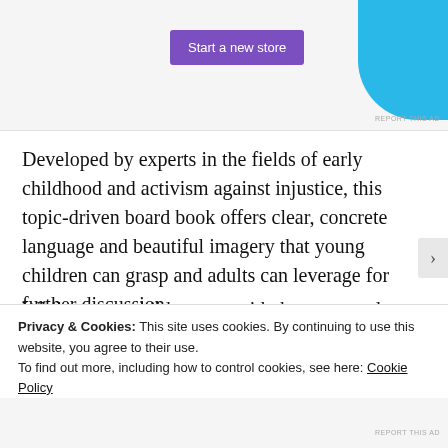[Figure (other): Advertisement banner with purple 'Start a new store' button and blue decorative shape]
Developed by experts in the fields of early childhood and activism against injustice, this topic-driven board book offers clear, concrete language and beautiful imagery that young children can grasp and adults can leverage for further discussion.
While young children are avid observers and questioners of their world, adults often shut down or postpone conversations on complicated topics because it's hard to know where to begin. Research shows that talking about
Privacy & Cookies: This site uses cookies. By continuing to use this website, you agree to their use.
To find out more, including how to control cookies, see here: Cookie Policy
Close and accept